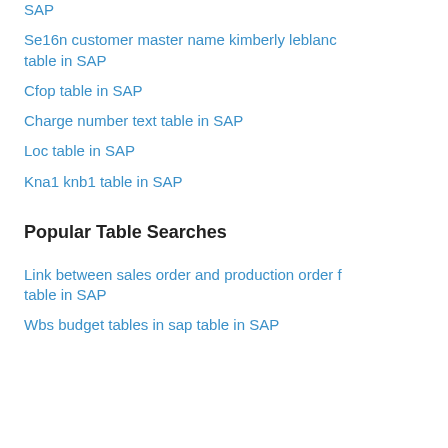SAP
Se16n customer master name kimberly leblanc table in SAP
Cfop table in SAP
Charge number text table in SAP
Loc table in SAP
Kna1 knb1 table in SAP
Popular Table Searches
Link between sales order and production order f table in SAP
Wbs budget tables in sap table in SAP